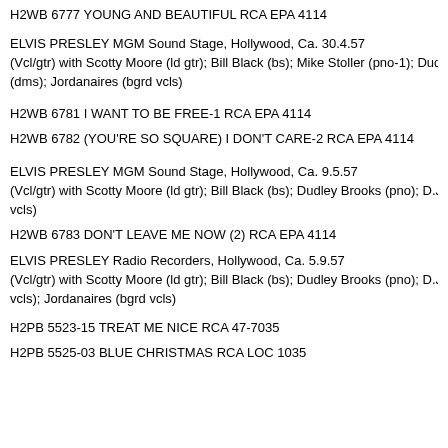H2WB 6777 YOUNG AND BEAUTIFUL RCA EPA 4114
ELVIS PRESLEY MGM Sound Stage, Hollywood, Ca. 30.4.57
(Vcl/gtr) with Scotty Moore (ld gtr); Bill Black (bs); Mike Stoller (pno-1); Dudley (dms); Jordanaires (bgrd vcls)
H2WB 6781 I WANT TO BE FREE-1 RCA EPA 4114
H2WB 6782 (YOU'RE SO SQUARE) I DON'T CARE-2 RCA EPA 4114
ELVIS PRESLEY MGM Sound Stage, Hollywood, Ca. 9.5.57
(Vcl/gtr) with Scotty Moore (ld gtr); Bill Black (bs); Dudley Brooks (pno); D.J. Fon vcls)
H2WB 6783 DON'T LEAVE ME NOW (2) RCA EPA 4114
ELVIS PRESLEY Radio Recorders, Hollywood, Ca. 5.9.57
(Vcl/gtr) with Scotty Moore (ld gtr); Bill Black (bs); Dudley Brooks (pno); D.J. Fonta vcls); Jordanaires (bgrd vcls)
H2PB 5523-15 TREAT ME NICE RCA 47-7035
H2PB 5525-03 BLUE CHRISTMAS RCA LOC 1035